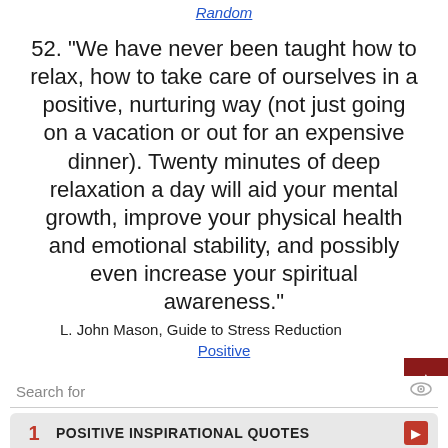Random
52. "We have never been taught how to relax, how to take care of ourselves in a positive, nurturing way (not just going on a vacation or out for an expensive dinner). Twenty minutes of deep relaxation a day will aid your mental growth, improve your physical health and emotional stability, and possibly even increase your spiritual awareness."
L. John Mason, Guide to Stress Reduction
Positive
[Figure (screenshot): Search box with eye icon and two ad rows: 1. POSITIVE INSPIRATIONAL QUOTES, 2. AMERICAN INCOME LIFE, plus ad footer icon]